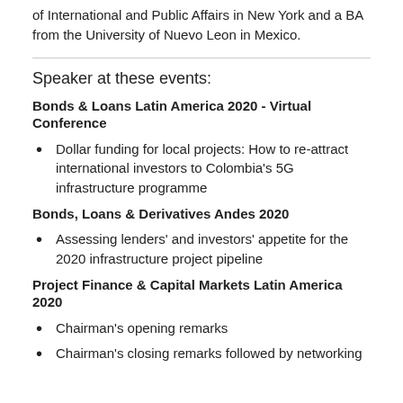of International and Public Affairs in New York and a BA from the University of Nuevo Leon in Mexico.
Speaker at these events:
Bonds & Loans Latin America 2020 - Virtual Conference
Dollar funding for local projects: How to re-attract international investors to Colombia's 5G infrastructure programme
Bonds, Loans & Derivatives Andes 2020
Assessing lenders' and investors' appetite for the 2020 infrastructure project pipeline
Project Finance & Capital Markets Latin America 2020
Chairman's opening remarks
Chairman's closing remarks followed by networking